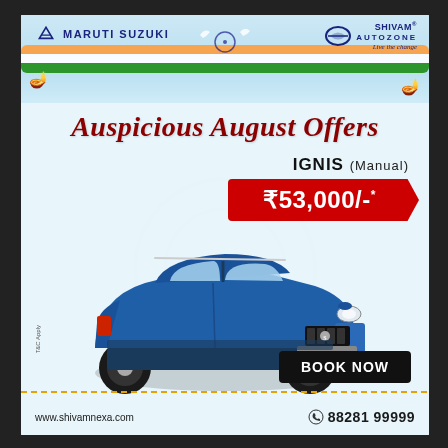[Figure (illustration): Maruti Suzuki / Shivam Autozone advertisement banner with Indian flag ribbon decoration, doves, and festive elements at the top]
Auspicious August Offers
IGNIS (Manual)
₹53,000/-*
[Figure (photo): Blue Maruti Suzuki IGNIS car (Manual), front three-quarter view, with IGNIS badge on front bumper]
T&C Apply
BOOK NOW
www.shivamnexa.com
88281 99999